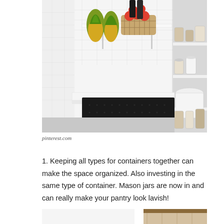[Figure (photo): Interior of a well-organized pantry with white subway tile walls, open shelving lined with glass jars, baskets, and food items including pineapples and apples, and a black floor mat.]
pinterest.com
1. Keeping all types for containers together can make the space organized. Also investing in the same type of container. Mason jars are now in and can really make your pantry look lavish!
[Figure (photo): Partial view of another pantry or storage area with white walls.]